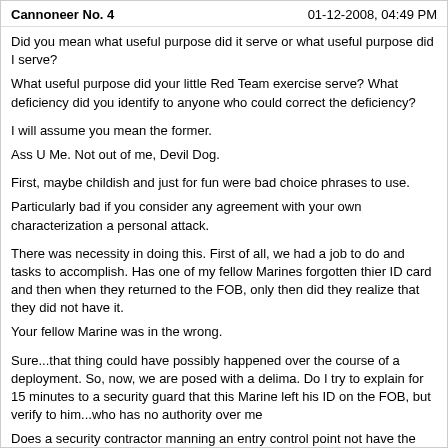Cannoneer No. 4    01-12-2008, 04:49 PM
Did you mean what useful purpose did it serve or what useful purpose did I serve?
What useful purpose did your little Red Team exercise serve? What deficiency did you identify to anyone who could correct the deficiency?
I will assume you mean the former.
Ass U Me. Not out of me, Devil Dog.
First, maybe childish and just for fun were bad choice phrases to use.
Particularly bad if you consider any agreement with your own characterization a personal attack.
There was necessity in doing this. First of all, we had a job to do and tasks to accomplish. Has one of my fellow Marines forgotten thier ID card and then when they returned to the FOB, only then did they realize that they did not have it.
Your fellow Marine was in the wrong.
Sure...that thing could have possibly happened over the course of a deployment. So, now, we are posed with a delima. Do I try to explain for 15 minutes to a security guard that this Marine left his ID on the FOB, but verify to him...who has no authority over me
Does a security contractor manning an entry control point not have the same authority to challenge you or your CAC cardless buddy when you try to get into his DFAC as you have over him when he tries to get into your ASP?